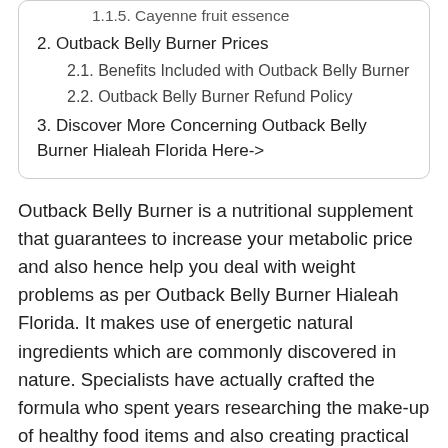1.1.5. Cayenne fruit essence
2. Outback Belly Burner Prices
2.1. Benefits Included with Outback Belly Burner
2.2. Outback Belly Burner Refund Policy
3. Discover More Concerning Outback Belly Burner Hialeah Florida Here->
Outback Belly Burner is a nutritional supplement that guarantees to increase your metabolic price and also hence help you deal with weight problems as per Outback Belly Burner Hialeah Florida. It makes use of energetic natural ingredients which are commonly discovered in nature. Specialists have actually crafted the formula who spent years researching the make-up of healthy food items and also creating practical treatments for combating excessive weight. You can get it on the Internet or